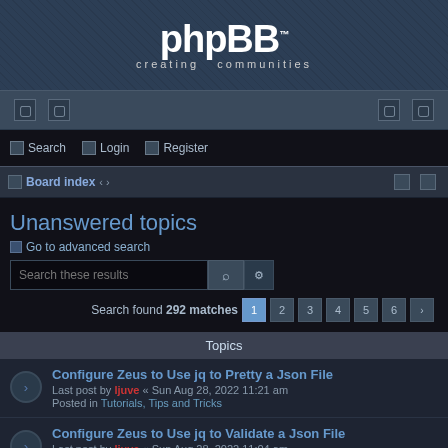[Figure (logo): phpBB logo with 'creating communities' tagline on dark blue textured background]
Navigation bar with icons, Search, Login, Register links
Board index
Unanswered topics
Go to advanced search
Search these results
Search found 292 matches  1 2 3 4 5 6 »
Topics
Configure Zeus to Use jq to Pretty a Json File
Last post by [user] « Sun Aug 28, 2022 11:21 am
Posted in Tutorials, Tips and Tricks
Configure Zeus to Use jq to Validate a Json File
Last post by [user] « Sun Aug 28, 2022 11:04 am